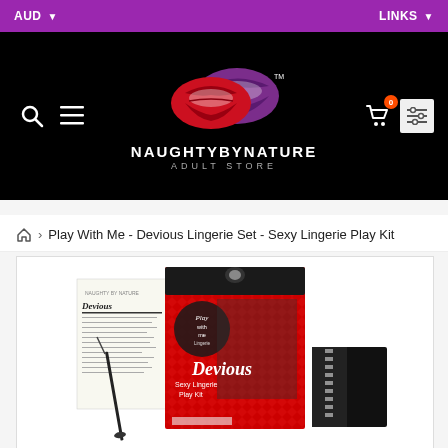AUD ▼    LINKS ▼
[Figure (logo): Naughty By Nature Adult Store logo with red and purple lips graphic, white text NAUGHTYBYNATURE and ADULT STORE below, on black background]
Play With Me - Devious Lingerie Set - Sexy Lingerie Play Kit
[Figure (photo): Product photo of Play With Me Devious Sexy Lingerie Play Kit box with contents including fishnet stockings, gloves, and a crop/whip]